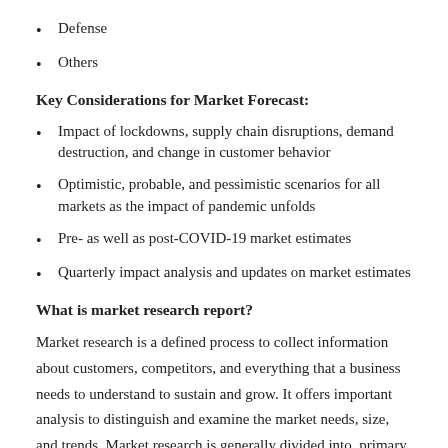Defense
Others
Key Considerations for Market Forecast:
Impact of lockdowns, supply chain disruptions, demand destruction, and change in customer behavior
Optimistic, probable, and pessimistic scenarios for all markets as the impact of pandemic unfolds
Pre- as well as post-COVID-19 market estimates
Quarterly impact analysis and updates on market estimates
What is market research report?
Market research is a defined process to collect information about customers, competitors, and everything that a business needs to understand to sustain and grow. It offers important analysis to distinguish and examine the market needs, size, and trends. Market research is generally divided into, primary research and/or secondary research. The process usually includes collection and interpretation of